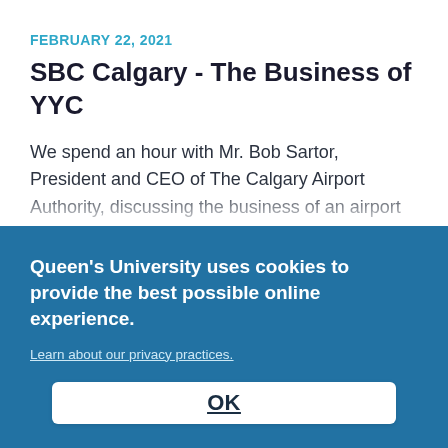FEBRUARY 22, 2021
SBC Calgary - The Business of YYC
We spend an hour with Mr. Bob Sartor, President and CEO of The Calgary Airport Authority, discussing the business of an airport during COVID-19, the importance of Canada's national transportation network, and how the sector's recovery is vital to local and regional communities.
Queen's University uses cookies to provide the best possible online experience.
Learn about our privacy practices.
OK